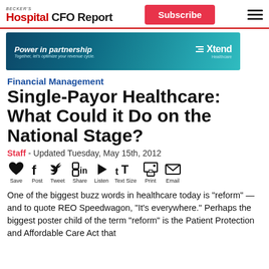Becker's Hospital CFO Report
[Figure (illustration): Xtend Healthcare advertisement banner: 'Power in partnership – Together, let's optimize your revenue cycle']
Financial Management
Single-Payor Healthcare: What Could it Do on the National Stage?
Staff - Updated Tuesday, May 15th, 2012
[Figure (infographic): Social sharing toolbar with icons: Save (heart), Post (Facebook f), Tweet (Twitter bird), Share (LinkedIn in), Listen (play triangle), Text Size (tT), Print (printer), Email (envelope)]
One of the biggest buzz words in healthcare today is "reform" — and to quote REO Speedwagon, "It's everywhere." Perhaps the biggest poster child of the term "reform" is the Patient Protection and Affordable Care Act that